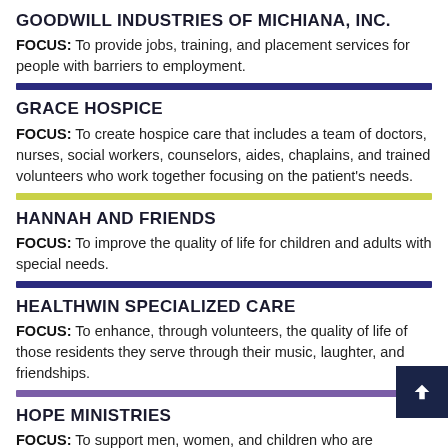GOODWILL INDUSTRIES OF MICHIANA, INC.
FOCUS: To provide jobs, training, and placement services for people with barriers to employment.
GRACE HOSPICE
FOCUS: To create hospice care that includes a team of doctors, nurses, social workers, counselors, aides, chaplains, and trained volunteers who work together focusing on the patient's needs.
HANNAH AND FRIENDS
FOCUS: To improve the quality of life for children and adults with special needs.
HEALTHWIN SPECIALIZED CARE
FOCUS: To enhance, through volunteers, the quality of life of those residents they serve through their music, laughter, and friendships.
HOPE MINISTRIES
FOCUS: To support men, women, and children who are homeless